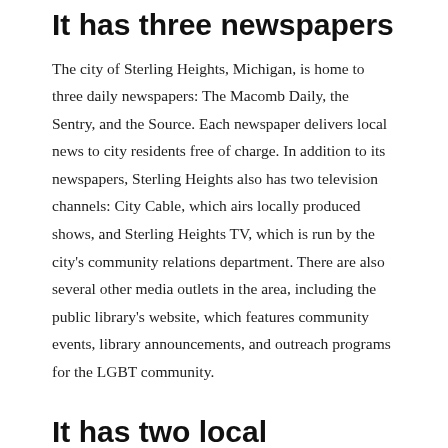It has three newspapers
The city of Sterling Heights, Michigan, is home to three daily newspapers: The Macomb Daily, the Sentry, and the Source. Each newspaper delivers local news to city residents free of charge. In addition to its newspapers, Sterling Heights also has two television channels: City Cable, which airs locally produced shows, and Sterling Heights TV, which is run by the city's community relations department. There are also several other media outlets in the area, including the public library's website, which features community events, library announcements, and outreach programs for the LGBT community.
It has two local channels
Residents of Sterling Heights can receive sports programming on two local channels: WUCF and WHEI. The